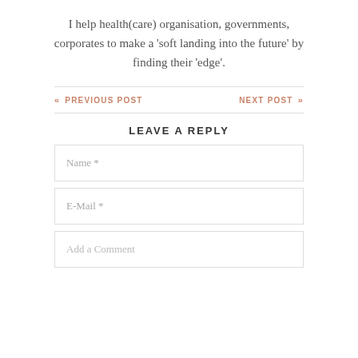I help health(care) organisation, governments, corporates to make a 'soft landing into the future' by finding their 'edge'.
« PREVIOUS POST
NEXT POST »
LEAVE A REPLY
Name *
E-Mail *
Add a Comment